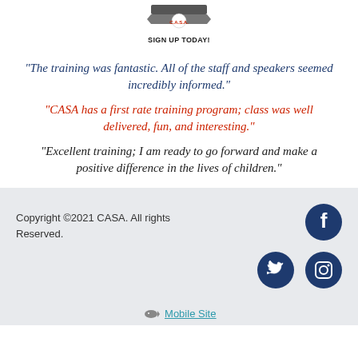[Figure (logo): CASA logo with banner/ribbon element and 'SIGN UP TODAY!' text below]
“The training was fantastic. All of the staff and speakers seemed incredibly informed.”
“CASA has a first rate training program; class was well delivered, fun, and interesting.”
“Excellent training; I am ready to go forward and make a positive difference in the lives of children.”
Copyright ©2021 CASA. All rights Reserved.
[Figure (logo): Facebook icon circle - dark navy blue]
[Figure (logo): Twitter icon circle - dark navy blue]
[Figure (logo): Instagram icon circle - dark navy blue]
Mobile Site